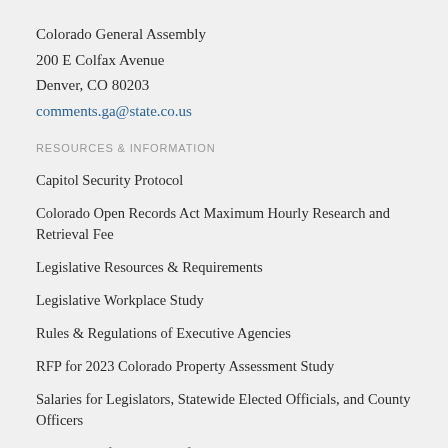Colorado General Assembly
200 E Colfax Avenue
Denver, CO 80203
comments.ga@state.co.us
RESOURCES & INFORMATION
Capitol Security Protocol
Colorado Open Records Act Maximum Hourly Research and Retrieval Fee
Legislative Resources & Requirements
Legislative Workplace Study
Rules & Regulations of Executive Agencies
RFP for 2023 Colorado Property Assessment Study
Salaries for Legislators, Statewide Elected Officials, and County Officers
Solicitation for Members for the Behavioral Health Task Force
State Home